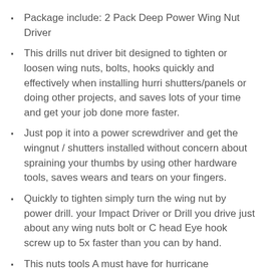Package include: 2 Pack Deep Power Wing Nut Driver
This drills nut driver bit designed to tighten or loosen wing nuts, bolts, hooks quickly and effectively when installing hurri shutters/panels or doing other projects, and saves lots of your time and get your job done more faster.
Just pop it into a power screwdriver and get the wingnut / shutters installed without concern about spraining your thumbs by using other hardware tools, saves wears and tears on your fingers.
Quickly to tighten simply turn the wing nut by power drill. your Impact Driver or Drill you drive just about any wing nuts bolt or C head Eye hook screw up to 5x faster than you can by hand.
This nuts tools A must have for hurricane Snowstorm prone areas